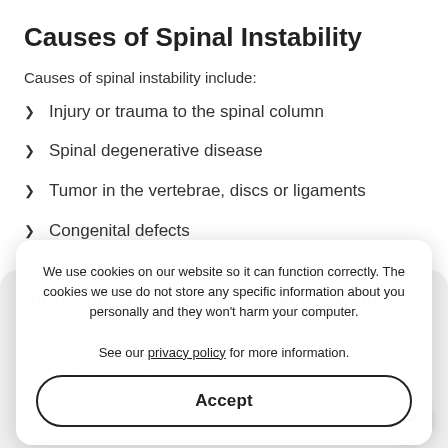Causes of Spinal Instability
Causes of spinal instability include:
Injury or trauma to the spinal column
Spinal degenerative disease
Tumor in the vertebrae, discs or ligaments
Congenital defects
Signs and symptoms of Spinal Instability
Signs and symptoms of spinal instability include:
Nerve irritation causing deep, severe pain starting from the back and radiating to the legs
Pain with prolonged standing or sitting
We use cookies on our website so it can function correctly. The cookies we use do not store any specific information about you personally and they won't harm your computer.

See our privacy policy for more information.